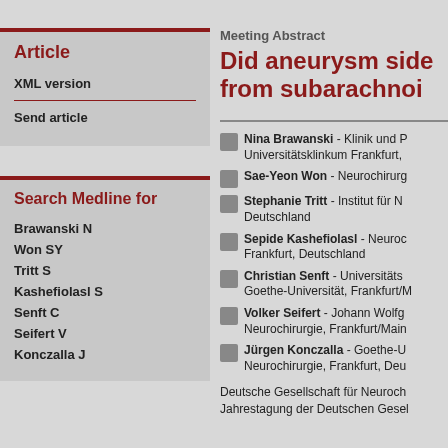Article
XML version
Send article
Search Medline for
Brawanski N
Won SY
Tritt S
Kashefiolasl S
Senft C
Seifert V
Konczalla J
Meeting Abstract
Did aneurysm side from subarachnoi
Nina Brawanski - Klinik und P Universitätsklinkum Frankfurt,
Sae-Yeon Won - Neurochirurg
Stephanie Tritt - Institut für N Deutschland
Sepide Kashefiolasl - Neuroc Frankfurt, Deutschland
Christian Senft - Universitäts Goethe-Universität, Frankfurt/M
Volker Seifert - Johann Wolfg Neurochirurgie, Frankfurt/Main
Jürgen Konczalla - Goethe-U Neurochirurgie, Frankfurt, Deu
Deutsche Gesellschaft für Neuroch Jahrestagung der Deutschen Gesel